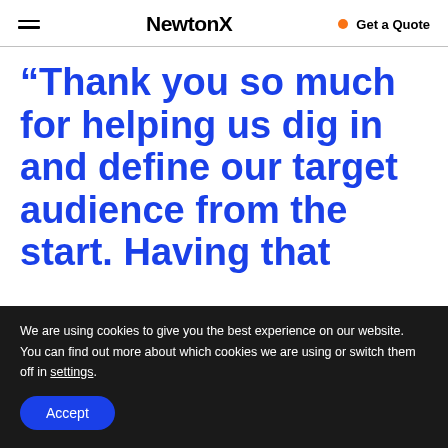NewtonX   Get a Quote
“Thank you so much for helping us dig in and define our target audience from the start. Having that
We are using cookies to give you the best experience on our website.
You can find out more about which cookies we are using or switch them off in settings.
Accept